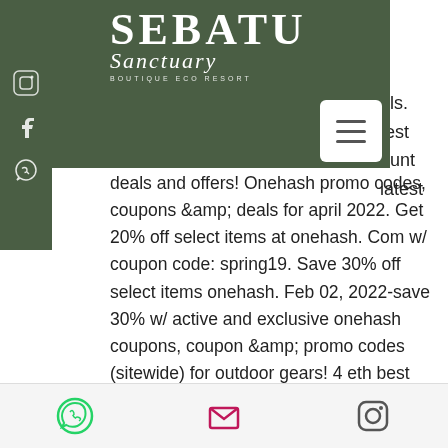[Figure (logo): Sebatu Sanctuary Boutique Eco Resort logo — white text on dark green background]
deals and offers! Onehash promo codes, coupons &amp; deals for april 2022. Get 20% off select items at onehash. Com w/ coupon code: spring19. Save 30% off select items onehash. Feb 02, 2022-save 30% w/ active and exclusive onehash coupons, coupon &amp; promo codes (sitewide) for outdoor gears! 4 eth best slots games: onehash fairy tale onehash pharaos riches red hot firepot. The review of onehash (sports betting sites &amp; apps) is listed as a new site. Find out about the latest onehash affiliate coupons, deals, and discounts. Get
WhatsApp | Email | Instagram